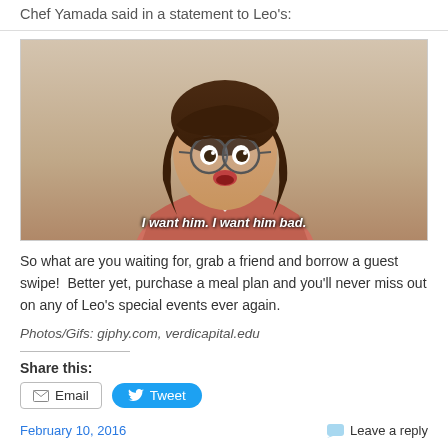Chef Yamada said in a statement to Leo's:
[Figure (photo): A dark-haired woman with bangs wearing round glasses and a pink blazer, looking surprised, with subtitle text 'I want him. I want him bad.']
So what are you waiting for, grab a friend and borrow a guest swipe!  Better yet, purchase a meal plan and you'll never miss out on any of Leo's special events ever again.
Photos/Gifs: giphy.com, verdicapital.edu
Share this:
February 10, 2016   Leave a reply